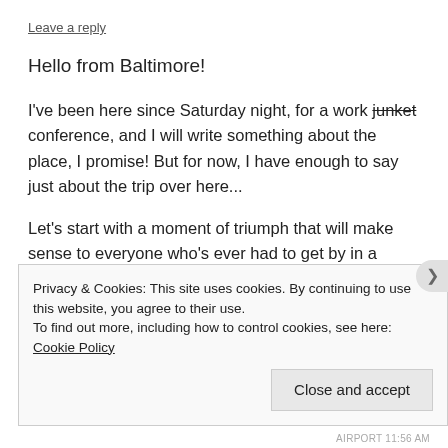Leave a reply
Hello from Baltimore!
I've been here since Saturday night, for a work junket conference, and I will write something about the place, I promise! But for now, I have enough to say just about the trip over here...
Let's start with a moment of triumph that will make sense to everyone who's ever had to get by in a language they're less-than-fluent in. Normally, when I check in for a flight in Italy,
Privacy & Cookies: This site uses cookies. By continuing to use this website, you agree to their use.
To find out more, including how to control cookies, see here: Cookie Policy
Close and accept
AIRPORT 11:56 AM